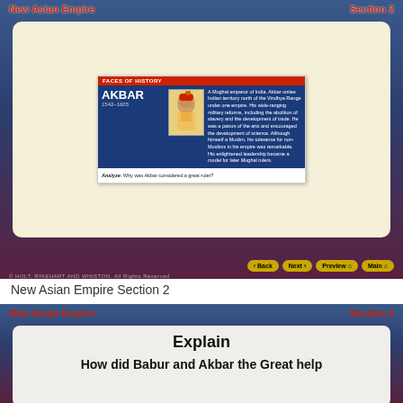New Asian Empire | Section 2
[Figure (illustration): Faces of History card featuring Akbar (1542-1605), a Mughal emperor of India. Includes portrait illustration and biographical text about uniting Indian territory and reforms.]
New Asian Empire Section 2
New Asian Empire | Section 2
Explain
How did Babur and Akbar the Great help